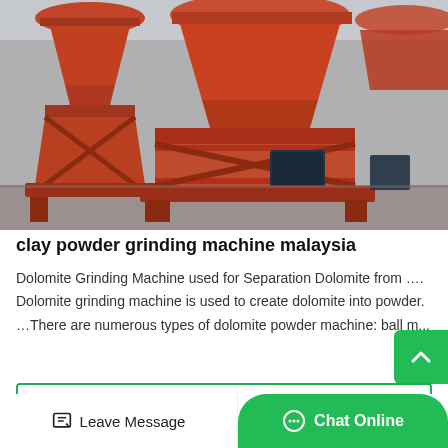[Figure (photo): Industrial red/orange clay powder grinding machines (cone crushers or vertical roller mills) in a manufacturing facility. Large orange metal machinery with structural frames on a concrete floor.]
clay powder grinding machine malaysia
Dolomite Grinding Machine used for Separation Dolomite from …. Dolomite grinding machine is used to create dolomite into powder. …There are numerous types of dolomite powder machine: ball m...
Read More
Leave Message   Chat Online